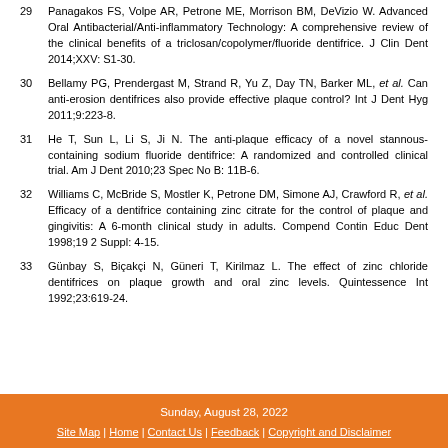29 Panagakos FS, Volpe AR, Petrone ME, Morrison BM, DeVizio W. Advanced Oral Antibacterial/Anti-inflammatory Technology: A comprehensive review of the clinical benefits of a triclosan/copolymer/fluoride dentifrice. J Clin Dent 2014;XXV: S1-30.
30 Bellamy PG, Prendergast M, Strand R, Yu Z, Day TN, Barker ML, et al. Can anti-erosion dentifrices also provide effective plaque control? Int J Dent Hyg 2011;9:223-8.
31 He T, Sun L, Li S, Ji N. The anti-plaque efficacy of a novel stannous-containing sodium fluoride dentifrice: A randomized and controlled clinical trial. Am J Dent 2010;23 Spec No B: 11B-6.
32 Williams C, McBride S, Mostler K, Petrone DM, Simone AJ, Crawford R, et al. Efficacy of a dentifrice containing zinc citrate for the control of plaque and gingivitis: A 6-month clinical study in adults. Compend Contin Educ Dent 1998;19 2 Suppl: 4-15.
33 Günbay S, Biçakçi N, Güneri T, Kirilmaz L. The effect of zinc chloride dentifrices on plaque growth and oral zinc levels. Quintessence Int 1992;23:619-24.
Sunday, August 28, 2022 | Site Map | Home | Contact Us | Feedback | Copyright and Disclaimer